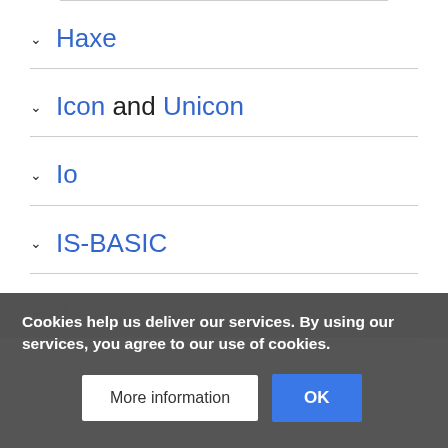Haxe
Icon and Unicon
Io
IS-BASIC
J
Cookies help us deliver our services. By using our services, you agree to our use of cookies.
More information
OK